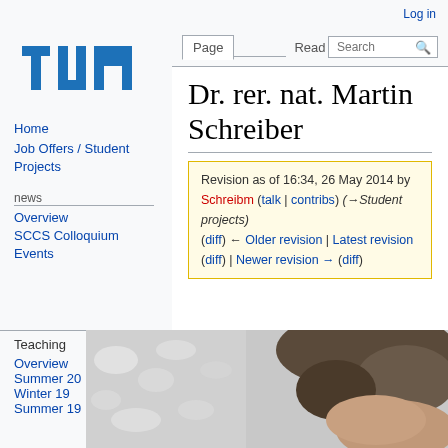Log in
[Figure (logo): TUM (Technische Universität München) blue block logo]
Home
Job Offers / Student Projects
news
Overview
SCCS Colloquium
Events
Teaching
Overview
Summer 20
Winter 19
Summer 19
Dr. rer. nat. Martin Schreiber
Revision as of 16:34, 26 May 2014 by Schreibm (talk | contribs) (→Student projects)
(diff) ← Older revision | Latest revision (diff) | Newer revision → (diff)
[Figure (photo): Partial photo of a person, showing top of head with dark hair and some snow/outdoor background]